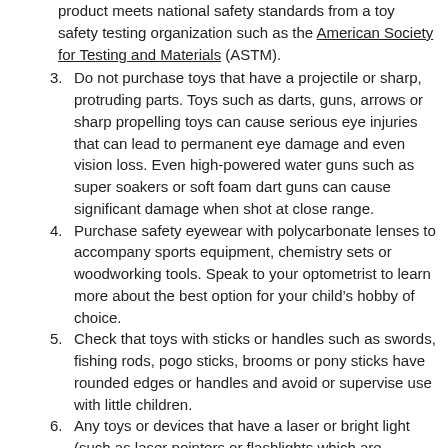(continuation) product meets national safety standards from a toy safety testing organization such as the American Society for Testing and Materials (ASTM).
3. Do not purchase toys that have a projectile or sharp, protruding parts. Toys such as darts, guns, arrows or sharp propelling toys can cause serious eye injuries that can lead to permanent eye damage and even vision loss. Even high-powered water guns such as super soakers or soft foam dart guns can cause significant damage when shot at close range.
4. Purchase safety eyewear with polycarbonate lenses to accompany sports equipment, chemistry sets or woodworking tools. Speak to your optometrist to learn more about the best option for your child’s hobby of choice.
5. Check that toys with sticks or handles such as swords, fishing rods, pogo sticks, brooms or pony sticks have rounded edges or handles and avoid or supervise use with little children.
6. Any toys or devices that have a laser or bright light (such as laser pointers or flashlights which are sometimes used by kids to play laser tag) can be dangerous. Bright lights such as those produced by high-powered flashlights can